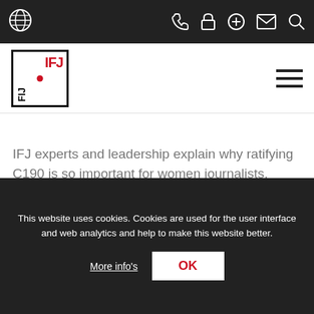IFJ website navigation bar with utility icons (globe, phone, lock, plus, mail, search) and IFJ/FIJ logo
[Figure (logo): IFJ FIJ logo — red IFJ text top-right, black FIJ text bottom-left, red dot center, all inside a black-bordered square]
IFJ experts and leadership explain why ratifying C190 is so important for women journalists.
Resources
This website uses cookies. Cookies are used for the user interface and web analytics and help to make this website better.